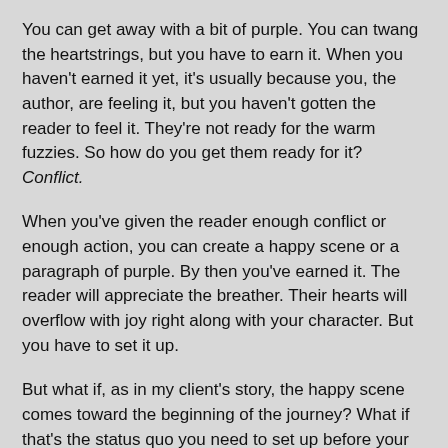You can get away with a bit of purple. You can twang the heartstrings, but you have to earn it. When you haven't earned it yet, it's usually because you, the author, are feeling it, but you haven't gotten the reader to feel it. They're not ready for the warm fuzzies. So how do you get them ready for it? Conflict.
When you've given the reader enough conflict or enough action, you can create a happy scene or a paragraph of purple. By then you've earned it. The reader will appreciate the breather. Their hearts will overflow with joy right along with your character. But you have to set it up.
But what if, as in my client's story, the happy scene comes toward the beginning of the journey? What if that's the status quo you need to set up before your character launches into the story? There are ways you can structure this happy scene, e.g. frame it with two conflict scenes, make it flashback, and more. But I want to show you how to use happy to foreshadow unhappy.
Sickeningly Sweet